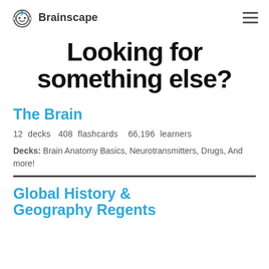Brainscape
Looking for something else?
The Brain
12 decks  408 flashcards  66,196 learners
Decks: Brain Anatomy Basics, Neurotransmitters, Drugs, And more!
Global History & Geography Regents